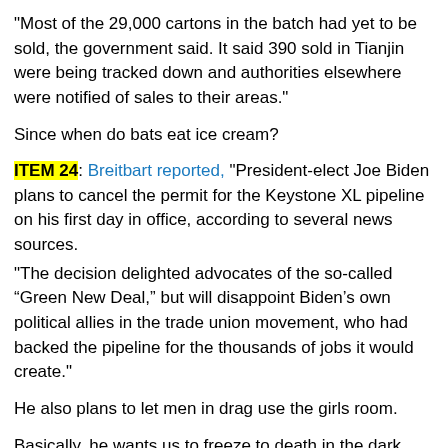"Most of the 29,000 cartons in the batch had yet to be sold, the government said. It said 390 sold in Tianjin were being tracked down and authorities elsewhere were notified of sales to their areas."
Since when do bats eat ice cream?
ITEM 24: Breitbart reported, "President-elect Joe Biden plans to cancel the permit for the Keystone XL pipeline on his first day in office, according to several news sources.
"The decision delighted advocates of the so-called “Green New Deal,” but will disappoint Biden’s own political allies in the trade union movement, who had backed the pipeline for the thousands of jobs it would create."
He also plans to let men in drag use the girls room.
Basically, he wants us to freeze to death in the dark, sitting beside some creepy character who claims to be a woman.
ITEM 25: A reader wrote, "Dear Don...